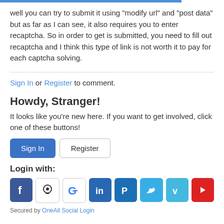well you can try to submit it using "modify url" and "post data" but as far as I can see, it also requires you to enter recaptcha. So in order to get is submitted, you need to fill out recaptcha and I think this type of link is not worth it to pay for each captcha solving.
Sign In or Register to comment.
Howdy, Stranger!
It looks like you're new here. If you want to get involved, click one of these buttons!
Sign In  Register
Login with:
[Figure (other): Social login icons: Facebook, GitHub, Google, LinkedIn, PayPal, Twitter, Vimeo, YouTube]
Secured by OneAll Social Login
Quick Links
Categories
6/6